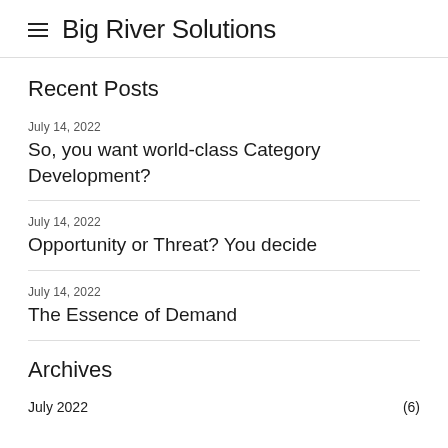Big River Solutions
Recent Posts
July 14, 2022
So, you want world-class Category Development?
July 14, 2022
Opportunity or Threat? You decide
July 14, 2022
The Essence of Demand
Archives
July 2022 (6)